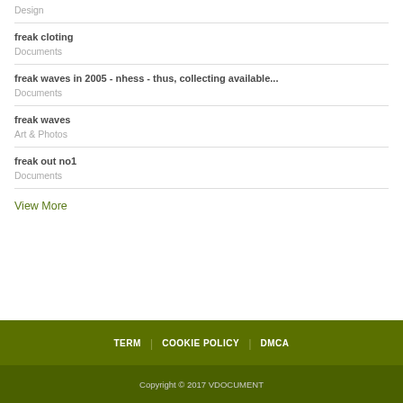Design
freak cloting
Documents
freak waves in 2005 - nhess - thus, collecting available...
Documents
freak waves
Art & Photos
freak out no1
Documents
View More
TERM | COOKIE POLICY | DMCA
Copyright © 2017 VDOCUMENT